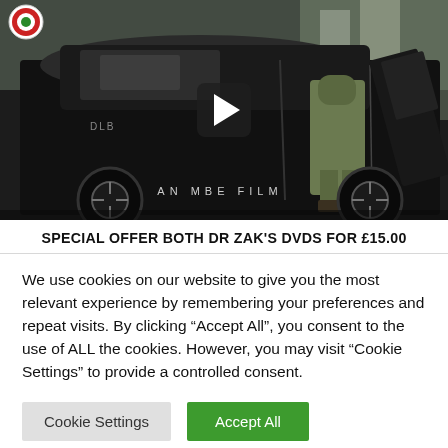[Figure (screenshot): Video thumbnail showing a military person getting into a black SUV vehicle, with 'AN MBE FILM' text overlay and a play button in the center. A circular logo badge is visible in the top-left corner.]
SPECIAL OFFER BOTH DR ZAK'S DVDS FOR £15.00
We use cookies on our website to give you the most relevant experience by remembering your preferences and repeat visits. By clicking "Accept All", you consent to the use of ALL the cookies. However, you may visit "Cookie Settings" to provide a controlled consent.
Cookie Settings | Accept All